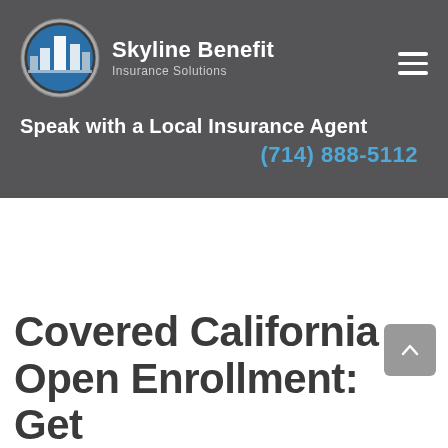[Figure (logo): Skyline Benefit Insurance Solutions logo: circular icon with blue city skyline graphic, white company name and subtitle]
Speak with a Local Insurance Agent
(714) 888-5112
Covered California Open Enrollment: Get